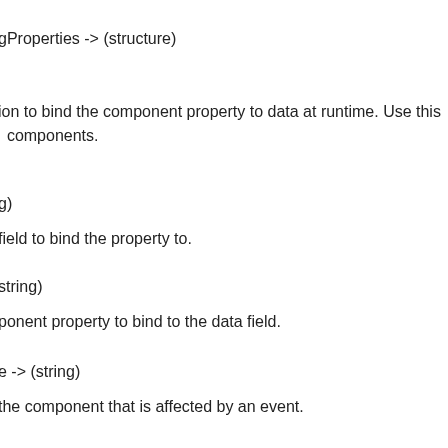gProperties -> (structure)
ion to bind the component property to data at runtime. Use this components.
g)
field to bind the property to.
string)
ponent property to bind to the data field.
e -> (string)
the component that is affected by an event.
ponent properties to concatenate to create the value to assign to ent property.
e ... )